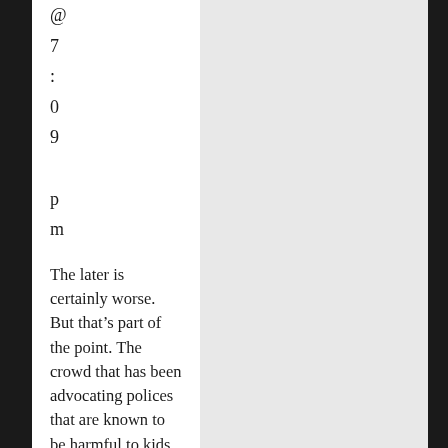@
7
:
0
9
pm
The later is certainly worse. But that’s part of the point. The crowd that has been advocating polices that are known to be harmful to kids don’t want to talk about that. Better to change the subject and what better